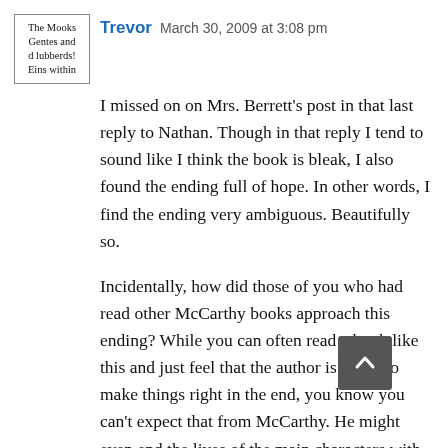[Figure (other): Avatar image showing book cover text: 'The Mooks Gentes and d lubberds! Eins within']
Trevor   March 30, 2009 at 3:08 pm
I missed on on Mrs. Berrett's post in that last reply to Nathan. Though in that reply I tend to sound like I think the book is bleak, I also found the ending full of hope. In other words, I find the ending very ambiguous. Beautifully so.
Incidentally, how did those of you who had read other McCarthy books approach this ending? While you can often read a book like this and just feel that the author is going to make things right in the end, you know you can't expect that from McCarthy. He might even end the lives of the main characters with fifty pages left in which to learn other things. He completely undercuts reader expectation, and that's one reason I find his